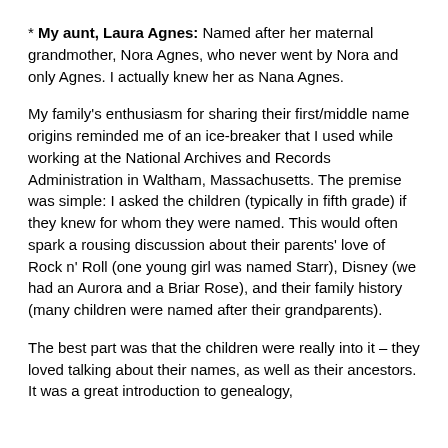* My aunt, Laura Agnes: Named after her maternal grandmother, Nora Agnes, who never went by Nora and only Agnes. I actually knew her as Nana Agnes.
My family's enthusiasm for sharing their first/middle name origins reminded me of an ice-breaker that I used while working at the National Archives and Records Administration in Waltham, Massachusetts. The premise was simple: I asked the children (typically in fifth grade) if they knew for whom they were named. This would often spark a rousing discussion about their parents' love of Rock n' Roll (one young girl was named Starr), Disney (we had an Aurora and a Briar Rose), and their family history (many children were named after their grandparents).
The best part was that the children were really into it – they loved talking about their names, as well as their ancestors. It was a great introduction to genealogy,